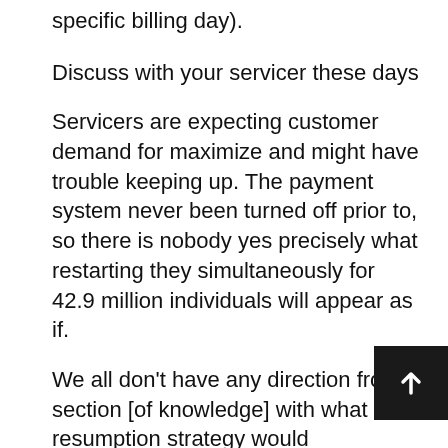specific billing day).
Discuss with your servicer these days
Servicers are expecting customer demand for maximize and might have trouble keeping up. The payment system never been turned off prior to, so there is nobody yes precisely what restarting they simultaneously for 42.9 million individuals will appear as if.
We all don’t have any direction from section [of knowledge] with what a resumption strategy would resemble,h2 claims Buchanan. We are now in schedule in whi those strategies have to be communicatеd, it cannot hold off.h2